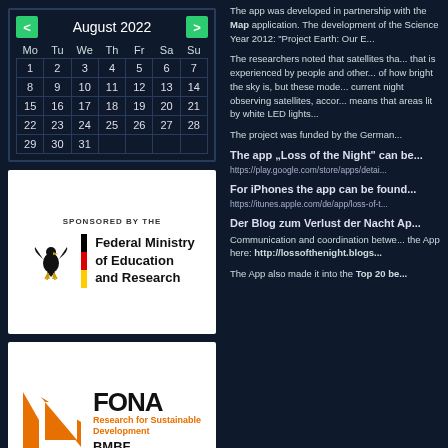[Figure (other): August 2022 calendar widget with navigation arrows, dark blue background, showing dates 1-31]
[Figure (logo): Federal Ministry of Education and Research sponsor logo with eagle emblem and German flag stripe]
[Figure (logo): FONA Research for Sustainable Development / BMBF logo in orange and black]
The app was developed in partnership with... Map application. The development of the... Science Year 2012: "Project Earth: Our E...
The researchers noted that satellites tha... that is experienced by people and other... of how bright the sky is, but these mode... current night observing satellites, accor... means that areas lit by white LED lights...
The project was funded by the German...
The app „Loss of the Night“ can be...
https://play.google.com/store/apps/detai...
For iPhones the app can be found...
https://itunes.apple.com/de/app/loss-of-t...
Der Blog zum Verlust der Nacht Ap...
Communication and coordination between... the App here: http://lossofthenight.blogs...
The App also made it into the Top 20 be...